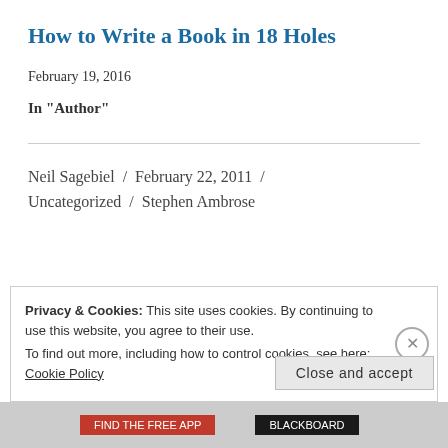How to Write a Book in 18 Holes
February 19, 2016
In "Author"
Neil Sagebiel / February 22, 2011 / Uncategorized / Stephen Ambrose
Privacy & Cookies: This site uses cookies. By continuing to use this website, you agree to their use. To find out more, including how to control cookies, see here: Cookie Policy